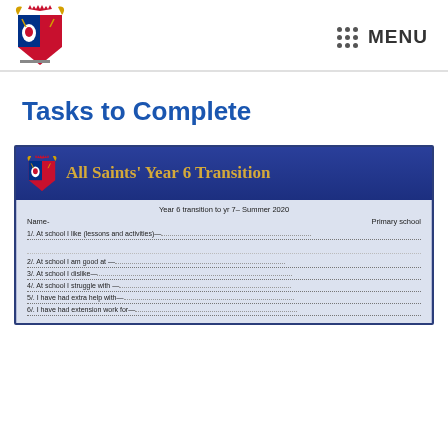[Figure (logo): All Saints school crest/coat of arms logo in red, gold, blue and white]
MENU
Tasks to Complete
[Figure (screenshot): All Saints Year 6 Transition worksheet with dark blue header showing school logo and title 'All Saints' Year 6 Transition'. Worksheet body has fields: Year 6 transition to yr 7- Summer 2020, Name-, Primary school, 1/. At school I like (lessons and activities), 2/. At school I am good at, 3/. At school I dislike, 4/. At school I struggle with, 5/. I have had extra help with, 6/. I have had extension work for]